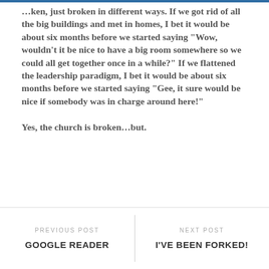…ken, just broken in different ways. If we got rid of all the big buildings and met in homes, I bet it would be about six months before we started saying “Wow, wouldn’t it be nice to have a big room somewhere so we could all get together once in a while?” If we flattened the leadership paradigm, I bet it would be about six months before we started saying “Gee, it sure would be nice if somebody was in charge around here!”
Yes, the church is broken…but.
PREVIOUS POST
GOOGLE READER
NEXT POST
I'VE BEEN FORKED!